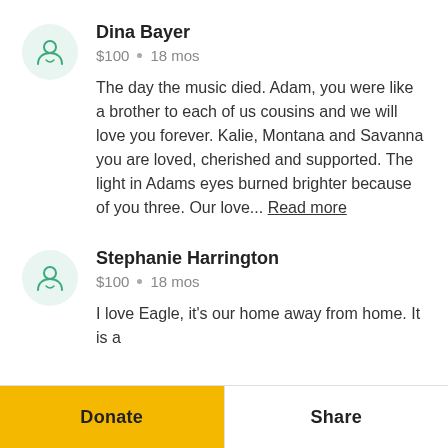Dina Bayer
$100  •  18 mos
The day the music died. Adam, you were like a brother to each of us cousins and we will love you forever. Kalie, Montana and Savanna you are loved, cherished and supported. The light in Adams eyes burned brighter because of you three. Our love... Read more
Stephanie Harrington
$100  •  18 mos
I love Eagle, it's our home away from home. It is a
Donate
Share